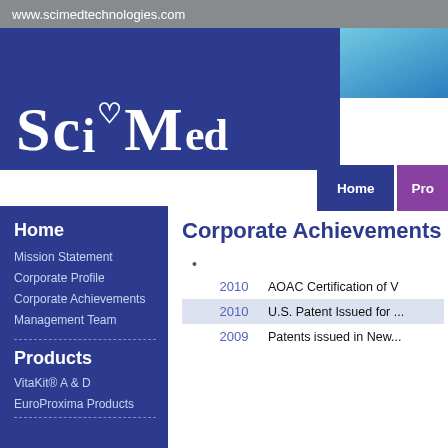www.scimedtechnologies.com
[Figure (logo): SciMed logo — large white serif text 'SciMed' on dark blue background with teal/blue rectangle to the right]
Home
Products
Home
Mission Statement
Corporate Profile
Corporate Achievements
Management Team
Products
VitaKit® A & D
EuroProxima Products
Corporate Achievements
| Year | Achievement |
| --- | --- |
| 2010 | AOAC Certification of V... |
| 2010 | U.S. Patent Issued for ... |
| 2009 | Patents issued in New ... |